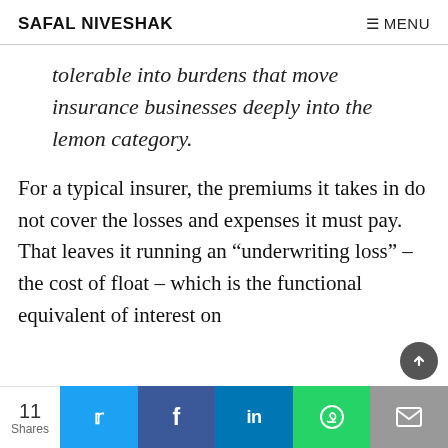SAFAL NIVESHAK | ≡ MENU
tolerable into burdens that move insurance businesses deeply into the lemon category.
For a typical insurer, the premiums it takes in do not cover the losses and expenses it must pay. That leaves it running an “underwriting loss” – the cost of float – which is the functional equivalent of interest on
11 Shares | Twitter | Facebook | LinkedIn | WhatsApp | Email